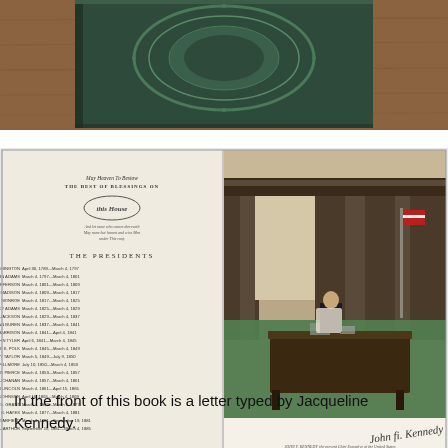[Figure (photo): Photo of a book cover with a decorative emblem/seal, placed on a wooden surface]
[Figure (photo): Open book showing a page titled 'THE PRESIDENTS' listing US presidents with dates, alongside a color photograph of John F. Kennedy seated at the Oval Office desk, with his signature below]
In the front of this book is a letter typed by Jacqueline Kennedy.